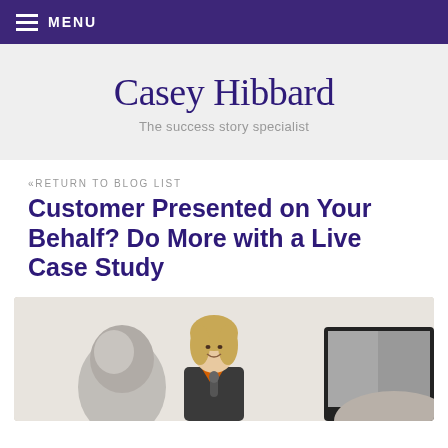MENU
Casey Hibbard
The success story specialist
«RETURN TO BLOG LIST
Customer Presented on Your Behalf? Do More with a Live Case Study
[Figure (photo): A woman with blonde hair wearing a suit with an orange collar stands at a podium with a microphone, smiling and presenting. In the foreground is the back of a person's head with grey hair, and to the right is a monitor/display screen.]